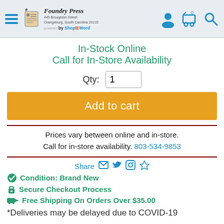Foundry Press — 445 Broughton Street, Orangeburg, South Carolina 29115 — powered by ShopByWord
In-Stock Online
Call for In-Store Availability
Qty: 1
Add to cart
Prices vary between online and in-store. Call for in-store availability. 803-534-9853
Share
Condition: Brand New
Secure Checkout Process
Free Shipping On Orders Over $35.00
*Deliveries may be delayed due to COVID-19